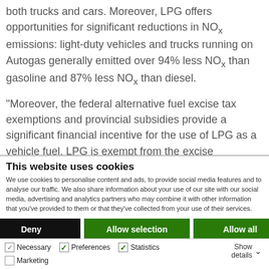both trucks and cars. Moreover, LPG offers opportunities for significant reductions in NOx emissions: light-duty vehicles and trucks running on Autogas generally emitted over 94% less NOx than gasoline and 87% less NOx than diesel.

"Moreover, the federal alternative fuel excise tax exemptions and provincial subsidies provide a significant financial incentive for the use of LPG as a vehicle fuel. LPG is exempt from the excise
This website uses cookies
We use cookies to personalise content and ads, to provide social media features and to analyse our traffic. We also share information about your use of our site with our social media, advertising and analytics partners who may combine it with other information that you've provided to them or that they've collected from your use of their services.
Deny | Allow selection | Allow all
Necessary  Preferences  Statistics  Marketing  Show details